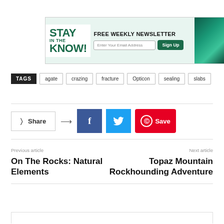[Figure (infographic): Banner ad: STAY IN THE KNOW! FREE WEEKLY NEWSLETTER with email sign-up field and Sign Up button, with teal mineral image on right]
TAGS  agate  crazing  fracture  Opticon  sealing  slabs
[Figure (infographic): Social share buttons: Share button, Facebook, Twitter, Pinterest Save]
Previous article
On The Rocks: Natural Elements
Next article
Topaz Mountain Rockhounding Adventure